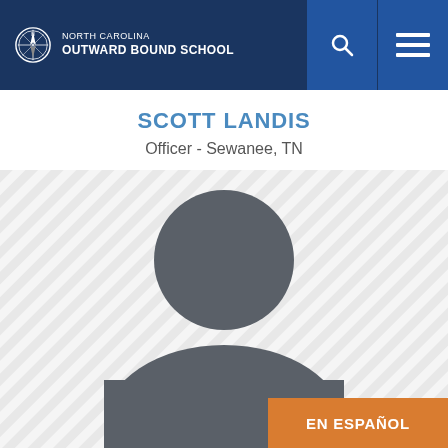North Carolina Outward Bound School
SCOTT LANDIS
Officer - Sewanee, TN
[Figure (illustration): Default person silhouette placeholder image on a diagonal stripe background]
EN ESPAÑOL